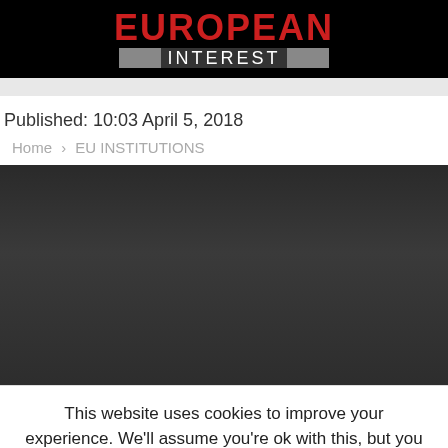EUROPEAN INTEREST
Published: 10:03 April 5, 2018
Home › EU INSTITUTIONS
[Figure (photo): Dark gradient image area, content obscured]
This website uses cookies to improve your experience. We'll assume you're ok with this, but you can opt-out if you wish. Accept Read More